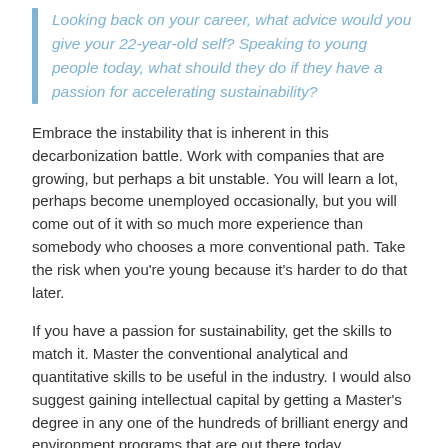Looking back on your career, what advice would you give your 22-year-old self? Speaking to young people today, what should they do if they have a passion for accelerating sustainability?
Embrace the instability that is inherent in this decarbonization battle. Work with companies that are growing, but perhaps a bit unstable. You will learn a lot, perhaps become unemployed occasionally, but you will come out of it with so much more experience than somebody who chooses a more conventional path. Take the risk when you're young because it's harder to do that later.
If you have a passion for sustainability, get the skills to match it. Master the conventional analytical and quantitative skills to be useful in the industry. I would also suggest gaining intellectual capital by getting a Master's degree in any one of the hundreds of brilliant energy and environment programs that are out there today.